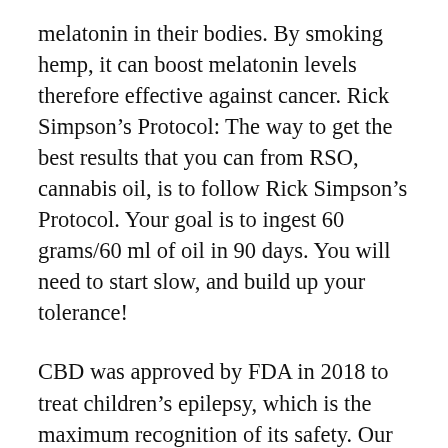melatonin in their bodies. By smoking hemp, it can boost melatonin levels therefore effective against cancer. Rick Simpson's Protocol: The way to get the best results that you can from RSO, cannabis oil, is to follow Rick Simpson's Protocol. Your goal is to ingest 60 grams/60 ml of oil in 90 days. You will need to start slow, and build up your tolerance!
CBD was approved by FDA in 2018 to treat children's epilepsy, which is the maximum recognition of its safety. Our results suggest that CBD indications may expand to glioma, especially the clinical first-line chemotherapy drug timomamide The combination may have a better effect. We are actively promoting the